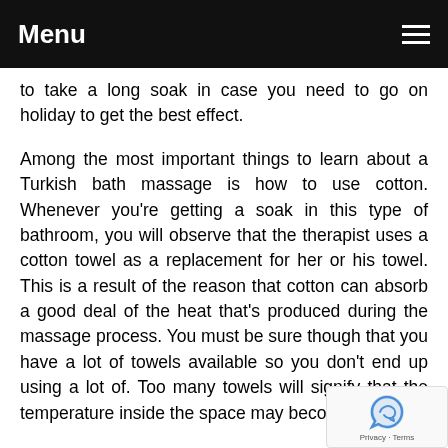Menu
to take a long soak in case you need to go on holiday to get the best effect.
Among the most important things to learn about a Turkish bath massage is how to use cotton. Whenever you're getting a soak in this type of bathroom, you will observe that the therapist uses a cotton towel as a replacement for her or his towel. This is a result of the reason that cotton can absorb a good deal of the heat that's produced during the massage process. You must be sure though that you have a lot of towels available so you don't end up using a lot of. Too many towels will signify that the temperature inside the space may become too hot.
A fantastic thing to see about a Turkish bath massage is that it has the power to offer an instantaneous feeling of comfort. A lot of individuals have commented that this type of massage ability to alleviate stress and tension. Along with this, it's been demonstrated that using artificial substances in this kind of